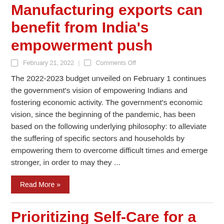Manufacturing exports can benefit from India's empowerment push
February 21, 2022   Comments Off
The 2022-2023 budget unveiled on February 1 continues the government's vision of empowering Indians and fostering economic activity. The government's economic vision, since the beginning of the pandemic, has been based on the following underlying philosophy: to alleviate the suffering of specific sectors and households by empowering them to overcome difficult times and emerge stronger, in order to may they ...
Read More »
Prioritizing Self-Care for a Brighter Future and Way of life